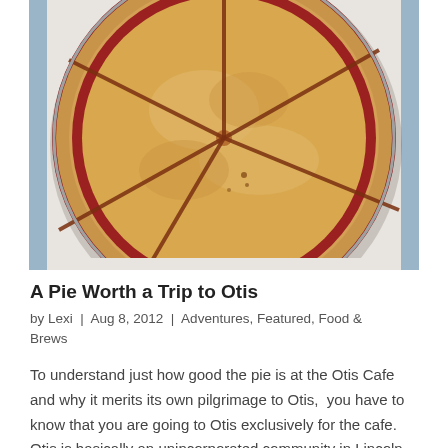[Figure (photo): Top-down view of a whole berry pie with a golden lattice-like scored crust and red berry filling visible along the edges, in a metal tin inside a white box.]
A Pie Worth a Trip to Otis
by Lexi | Aug 8, 2012 | Adventures, Featured, Food & Brews
To understand just how good the pie is at the Otis Cafe and why it merits its own pilgrimage to Otis,  you have to know that you are going to Otis exclusively for the cafe.  Otis is basically an unincorporated community in Lincoln County, OR.  It